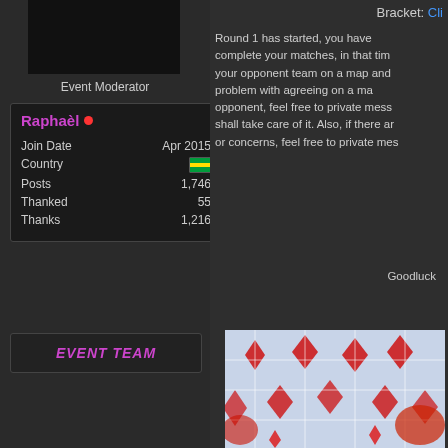[Figure (photo): Avatar/profile image black rectangle]
Event Moderator
Raphaèl ● Join Date Apr 2015 Country [Brazil flag] Posts 1,746 Thanked 55 Thanks 1,216
EVENT TEAM
Bracket: Cli
Round 1 has started, you have complete your matches, in that tim your opponent team on a map and problem with agreeing on a ma opponent, feel free to private mess shall take care of it. Also, if there ar or concerns, feel free to private mes
Goodluck
[Figure (illustration): Colorful anime-style illustration with red diamond shapes and decorative patterns]